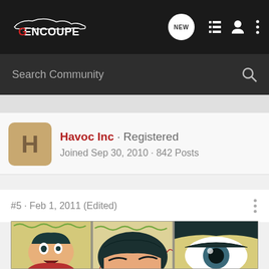[Figure (screenshot): GenCoupe forum website top navigation bar with logo, NEW button, list icon, user icon, and three-dot menu icon]
Search Community
[Figure (illustration): Vintage comic book panels showing a man's shocked face, the top of a head zoomed in, and a giant eye close-up]
Havoc Inc · Registered
Joined Sep 30, 2010 · 842 Posts
#5 · Feb 1, 2011 (Edited)